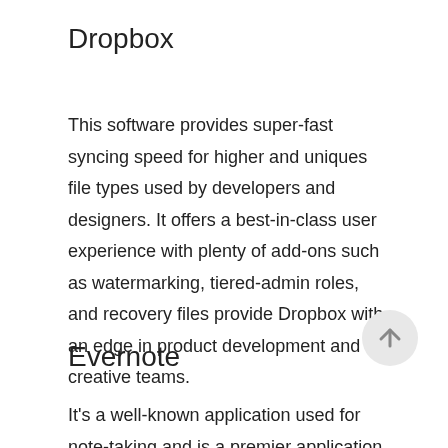Dropbox
This software provides super-fast syncing speed for higher and uniques file types used by developers and designers. It offers a best-in-class user experience with plenty of add-ons such as watermarking, tiered-admin roles, and recovery files provide Dropbox with an edge in product development and creative teams.
Evernote
It's a well-known application used for note-taking and is a premier application